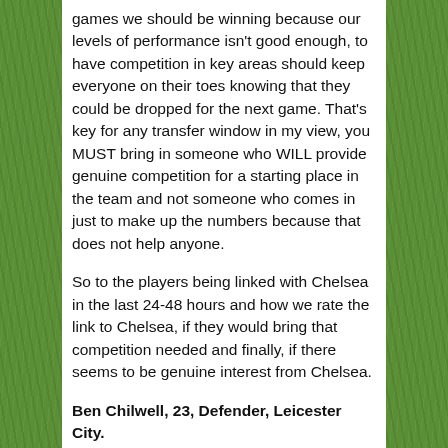games we should be winning because our levels of performance isn't good enough, to have competition in key areas should keep everyone on their toes knowing that they could be dropped for the next game. That's key for any transfer window in my view, you MUST bring in someone who WILL provide genuine competition for a starting place in the team and not someone who comes in just to make up the numbers because that does not help anyone.
So to the players being linked with Chelsea in the last 24-48 hours and how we rate the link to Chelsea, if they would bring that competition needed and finally, if there seems to be genuine interest from Chelsea.
Ben Chilwell, 23, Defender, Leicester City.